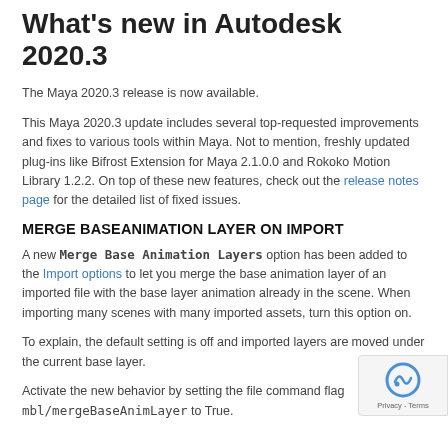What's new in Autodesk 2020.3
The Maya 2020.3 release is now available.
This Maya 2020.3 update includes several top-requested improvements and fixes to various tools within Maya. Not to mention, freshly updated plug-ins like Bifrost Extension for Maya 2.1.0.0 and Rokoko Motion Library 1.2.2. On top of these new features, check out the release notes page for the detailed list of fixed issues.
MERGE BASEANIMATION LAYER ON IMPORT
A new Merge Base Animation Layers option has been added to the Import options to let you merge the base animation layer of an imported file with the base layer animation already in the scene. When importing many scenes with many imported assets, turn this option on.
To explain, the default setting is off and imported layers are moved under the current base layer.
Activate the new behavior by setting the file command flag mbl/mergeBaseAnimLayer to True.